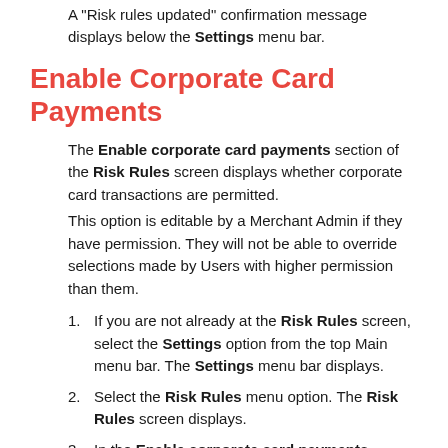A "Risk rules updated" confirmation message displays below the Settings menu bar.
Enable Corporate Card Payments
The Enable corporate card payments section of the Risk Rules screen displays whether corporate card transactions are permitted.
This option is editable by a Merchant Admin if they have permission. They will not be able to override selections made by Users with higher permission than them.
If you are not already at the Risk Rules screen, select the Settings option from the top Main menu bar. The Settings menu bar displays.
Select the Risk Rules menu option. The Risk Rules screen displays.
In the Enable corporate card payments section, click on the ON/OFF slide button to move it to the option you want.
The page continues to display the "Risk rules updated"